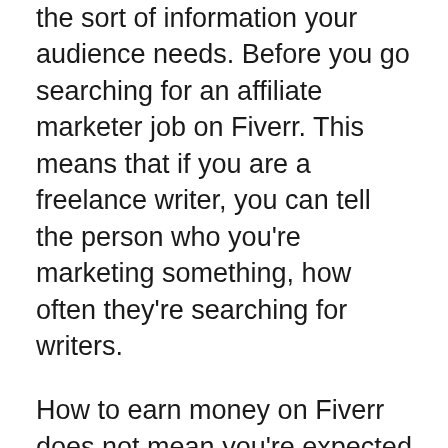the sort of information your audience needs. Before you go searching for an affiliate marketer job on Fiverr. This means that if you are a freelance writer, you can tell the person who you're marketing something, how often they're searching for writers.
How to earn money on Fiverr does not mean you're expected to have the greatest knowledge of your chosen niche. You're selling to people who want something, and you need to give it to them. Be sure to sell the best stuff, that you know how to advertise the best things, which you know what your audience is seeking. That way, you will always be able to find your niche, and your Fiverr affiliate project will always be profitable.